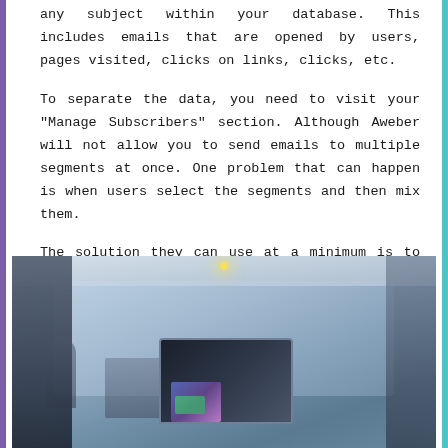any subject within your database. This includes emails that are opened by users, pages visited, clicks on links, clicks, etc.
To separate the data, you need to visit your "Manage Subscribers" section. Although Aweber will not allow you to send emails to multiple segments at once. One problem that can happen is when users select the segments and then mix them.
The solution they can use at a minimum is to send emails to multiple lists. It is possible to exclude lists from mailings, but it is impossible to exclude segments of a list.
[Figure (photo): Office or cafe interior with laptops and blurred background, showing monitors with colorful screens]